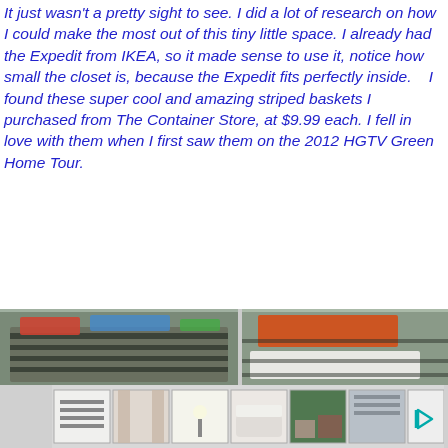It just wasn't a pretty sight to see. I did a lot of research on how I could make the most out of this tiny little space. I already had the Expedit from IKEA, so it made sense to use it, notice how small the closet is, because the Expedit fits perfectly inside.   I found these super cool and amazing striped baskets I purchased from The Container Store, at $9.99 each. I fell in love with them when I first saw them on the 2012 HGTV Green Home Tour.
[Figure (photo): Two striped baskets inside a closet shelf, one on the left with colorful items inside, one on the right with an orange item and white folded towel/cloth visible]
[Figure (photo): Thumbnail strip with six small images of home/room scenes and a play button icon]